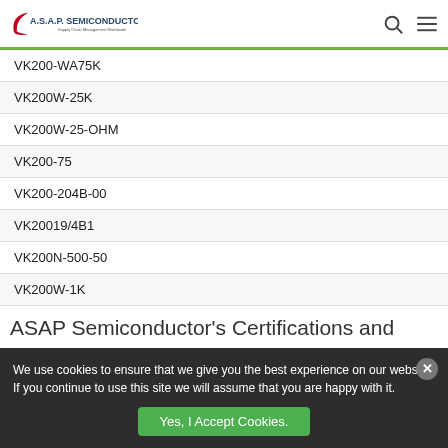A.S.A.P. SEMICONDUCTOR - Supply Chain Management Worldwide
| VK200-WA75K |
| VK200W-25K |
| VK200W-25-OHM |
| VK200-75 |
| VK200-204B-00 |
| VK20019/4B1 |
| VK200N-500-50 |
| VK200W-1K |
ASAP Semiconductor's Certifications and
We use cookies to ensure that we give you the best experience on our website. If you continue to use this site we will assume that you are happy with it.